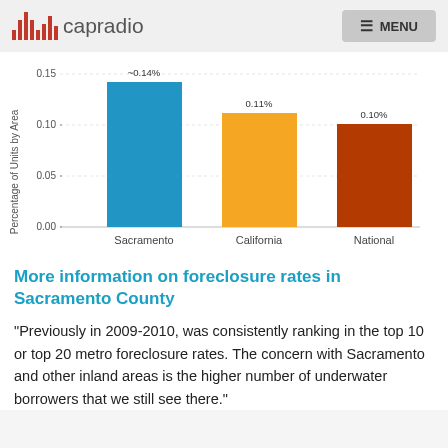capradio  MENU
[Figure (bar-chart): Percentage of Units by Area]
More information on foreclosure rates in Sacramento County
"Previously in 2009-2010, was consistently ranking in the top 10 or top 20 metro foreclosure rates. The concern with Sacramento and other inland areas is the higher number of underwater borrowers that we still see there."